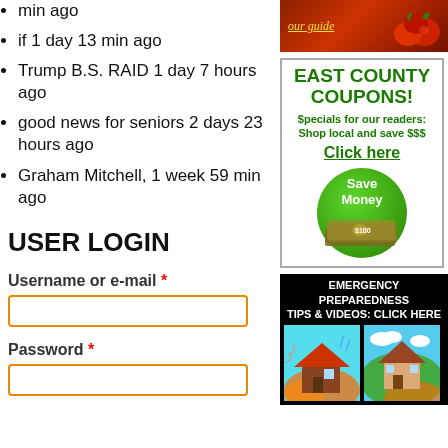min ago
if 1 day 13 min ago
Trump B.S. RAID 1 day 7 hours ago
good news for seniors 2 days 23 hours ago
Graham Mitchell, 1 week 59 min ago
USER LOGIN
Username or e-mail *
Password *
[Figure (photo): Ad banner with text 'our guide' and tomatoes image]
[Figure (infographic): East County Coupons advertisement with green text, 'Specials for our readers: Shop local and save $$$', 'Click here', and a green Save Money circle with dollar bills]
[Figure (infographic): Emergency Preparedness Tips & Videos: Click Here ad with fire background and cartoon house/weather illustrations]